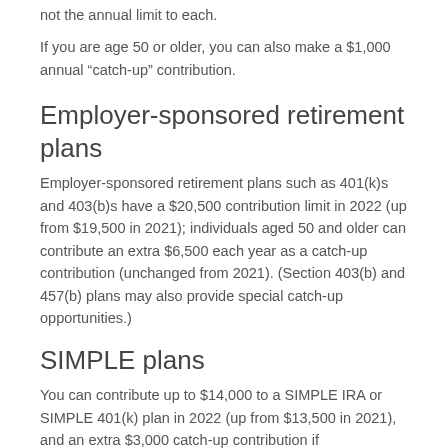not the annual limit to each.
If you are age 50 or older, you can also make a $1,000 annual “catch-up” contribution.
Employer-sponsored retirement plans
Employer-sponsored retirement plans such as 401(k)s and 403(b)s have a $20,500 contribution limit in 2022 (up from $19,500 in 2021); individuals aged 50 and older can contribute an extra $6,500 each year as a catch-up contribution (unchanged from 2021). (Section 403(b) and 457(b) plans may also provide special catch-up opportunities.)
SIMPLE plans
You can contribute up to $14,000 to a SIMPLE IRA or SIMPLE 401(k) plan in 2022 (up from $13,500 in 2021), and an extra $3,000 catch-up contribution if